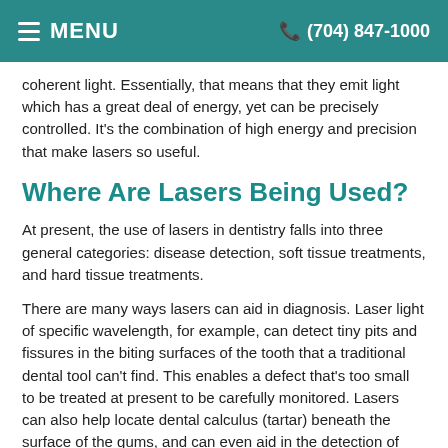MENU   (704) 847-1000
coherent light. Essentially, that means that they emit light which has a great deal of energy, yet can be precisely controlled. It's the combination of high energy and precision that make lasers so useful.
Where Are Lasers Being Used?
At present, the use of lasers in dentistry falls into three general categories: disease detection, soft tissue treatments, and hard tissue treatments.
There are many ways lasers can aid in diagnosis. Laser light of specific wavelength, for example, can detect tiny pits and fissures in the biting surfaces of the tooth that a traditional dental tool can't find. This enables a defect that's too small to be treated at present to be carefully monitored. Lasers can also help locate dental calculus (tartar) beneath the surface of the gums, and can even aid in the detection of oral cancer in its early stages, accurately showing where healthy tissue ends and diseased tissue begins.